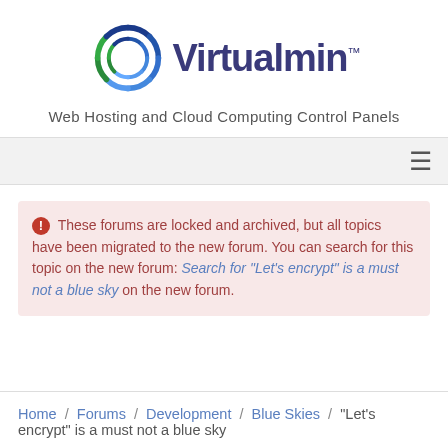[Figure (logo): Virtualmin logo: circular swirl icon in blue and green with 'Virtualmin™' text in dark blue]
Web Hosting and Cloud Computing Control Panels
≡ (hamburger menu icon)
ⓘ These forums are locked and archived, but all topics have been migrated to the new forum. You can search for this topic on the new forum: Search for "Let's encrypt" is a must not a blue sky on the new forum.
Home / Forums / Development / Blue Skies / "Let's encrypt" is a must not a blue sky